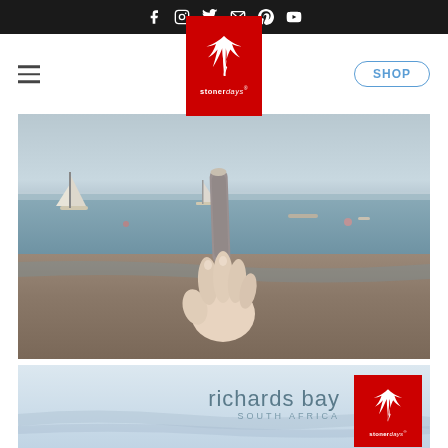Social media icons: Facebook, Instagram, Twitter, Email, Pinterest, YouTube
[Figure (logo): StonerDays logo - red background with white cannabis leaf and brand name]
SHOP
[Figure (photo): Hand holding a large joint/blunt on a beach with ocean, sailboats in background, Richards Bay South Africa]
[Figure (photo): Richards Bay South Africa - text overlay on light blue sky background with StonerDays logo]